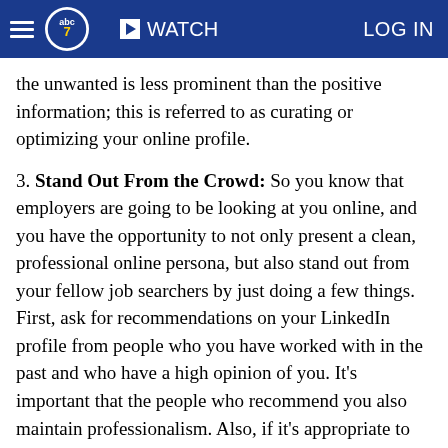abc7 | WATCH | LOG IN
the unwanted is less prominent than the positive information; this is referred to as curating or optimizing your online profile.
3. Stand Out From the Crowd: So you know that employers are going to be looking at you online, and you have the opportunity to not only present a clean, professional online persona, but also stand out from your fellow job searchers by just doing a few things. First, ask for recommendations on your LinkedIn profile from people who you have worked with in the past and who have a high opinion of you. It's important that the people who recommend you also maintain professionalism. Also, if it's appropriate to your career field, start a thoughtful blog that showcases your expertise and demonstrates your potential and thought-leadership to employers. You can also follow